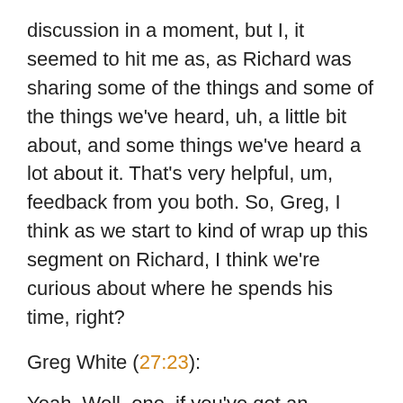discussion in a moment, but I, it seemed to hit me as, as Richard was sharing some of the things and some of the things we've heard, uh, a little bit about, and some things we've heard a lot about it. That's very helpful, um, feedback from you both. So, Greg, I think as we start to kind of wrap up this segment on Richard, I think we're curious about where he spends his time, right?
Greg White (27:23):
Yeah. Well, one, if you've got an example of somebody who is using your application, and I